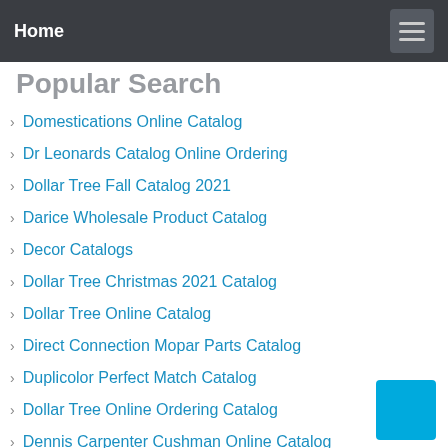Home
Popular Search
Domestications Online Catalog
Dr Leonards Catalog Online Ordering
Dollar Tree Fall Catalog 2021
Darice Wholesale Product Catalog
Decor Catalogs
Dollar Tree Christmas 2021 Catalog
Dollar Tree Online Catalog
Direct Connection Mopar Parts Catalog
Duplicolor Perfect Match Catalog
Dollar Tree Online Ordering Catalog
Dennis Carpenter Cushman Online Catalog
Disk Catalog Program